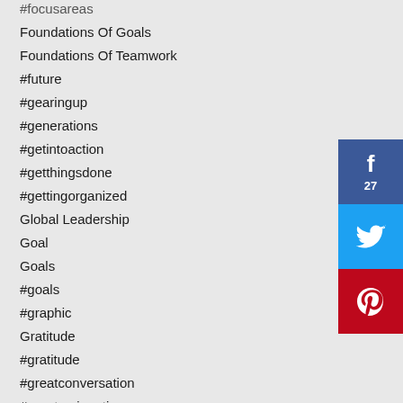#focusareas
Foundations Of Goals
Foundations Of Teamwork
#future
#gearingup
#generations
#getintoaction
#getthingsdone
#gettingorganized
Global Leadership
Goal
Goals
#goals
#graphic
Gratitude
#gratitude
#greatconversation
#greatresignation
Group Coaching
[Figure (infographic): Social share buttons: Facebook (27 shares), Twitter, Pinterest]